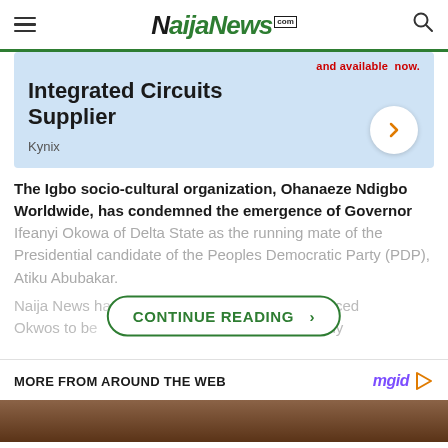NaijaNews.com
[Figure (infographic): Advertisement banner for Integrated Circuits Supplier - Kynix, light blue background with bold title text and a circular arrow button]
The Igbo socio-cultural organization, Ohanaeze Ndigbo Worldwide, has condemned the emergence of Governor Ifeanyi Okowa of Delta State as the running mate of the Presidential candidate of the Peoples Democratic Party (PDP), Atiku Abubakar.
Naija News h... nounced Okwos to b... ...urrently
CONTINUE READING ›
MORE FROM AROUND THE WEB
[Figure (photo): Bottom image strip showing a dark brownish photo, partially visible]